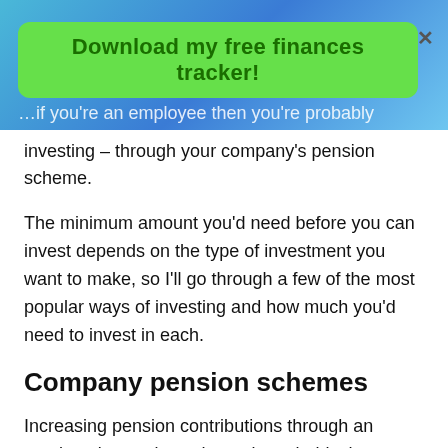[Figure (other): Green rounded rectangle banner with bold dark green text reading 'Download my free finances tracker!']
…if you're an employee then you're probably already investing – through your company's pension scheme.
The minimum amount you'd need before you can invest depends on the type of investment you want to make, so I'll go through a few of the most popular ways of investing and how much you'd need to invest in each.
Company pension schemes
Increasing pension contributions through an employer's pension scheme is probably the easiest way for most people to start investing, or increase the amount they're investing. All you'd need to do is bump up your contributions which come out of your salary each month,